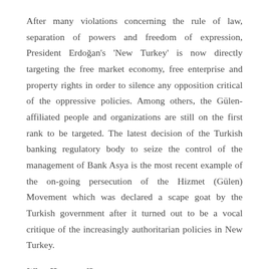After many violations concerning the rule of law, separation of powers and freedom of expression, President Erdoğan's 'New Turkey' is now directly targeting the free market economy, free enterprise and property rights in order to silence any opposition critical of the oppressive policies. Among others, the Gülen-affiliated people and organizations are still on the first rank to be targeted. The latest decision of the Turkish banking regulatory body to seize the control of the management of Bank Asya is the most recent example of the on-going persecution of the Hizmet (Gülen) Movement which was declared a scape goat by the Turkish government after it turned out to be a vocal critique of the increasingly authoritarian policies in New Turkey.
What Happened?
On February 3, in the late hours of the evening,